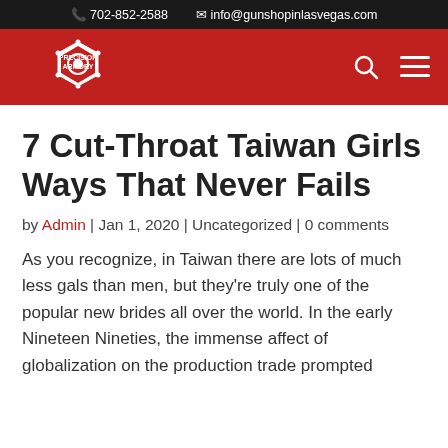702-852-2588   info@gunshopinlasvegas.com
[Figure (logo): Precision Armory logo on red navigation bar with search and menu icons]
7 Cut-Throat Taiwan Girls Ways That Never Fails
by Admin | Jan 1, 2020 | Uncategorized | 0 comments
As you recognize, in Taiwan there are lots of much less gals than men, but they're truly one of the popular new brides all over the world. In the early Nineteen Nineties, the immense affect of globalization on the production trade prompted